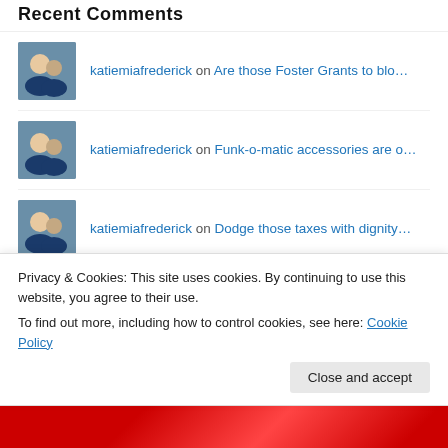Recent Comments
katiemiafrederick on Are those Foster Grants to blo…
katiemiafrederick on Funk-o-matic accessories are o…
katiemiafrederick on Dodge those taxes with dignity…
katiemiafrederick on Dodge those taxes with dignity…
katiemiafrederick on But…. but…. what a…
Privacy & Cookies: This site uses cookies. By continuing to use this website, you agree to their use.
To find out more, including how to control cookies, see here: Cookie Policy
Close and accept